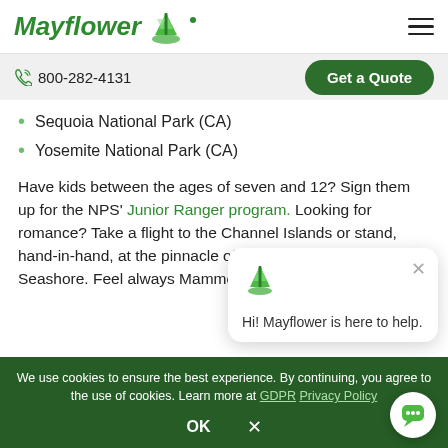Mayflower [logo] | hamburger menu
800-282-4131 | Get a Quote
Sequoia National Park (CA)
Yosemite National Park (CA)
Have kids between the ages of seven and 12? Sign them up for the NPS' Junior Ranger program. Looking for romance? Take a flight to the Channel Islands or stand, hand-in-hand, at the pinnacle of Point Reyes National Seashore. Feel always Mammoth Moun… Valley.
Hi! Mayflower is here to help.
We use cookies to ensure the best experience. By continuing, you agree to the use of cookies. Learn more at GDPR Privacy Policy
OK  ×